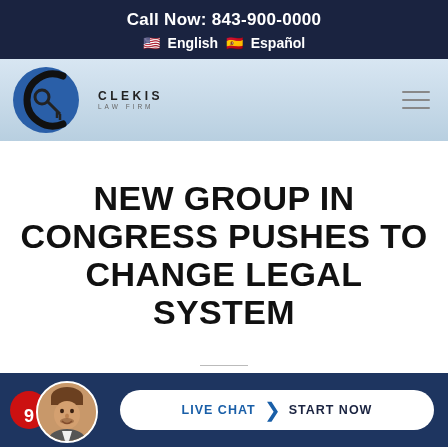Call Now: 843-900-0000 🇺🇸 English 🇪🇸 Español
[Figure (logo): Clekis Law Firm logo — circular C emblem in blue and black with a key icon, beside the text CLEKIS LAW FIRM]
NEW GROUP IN CONGRESS PUSHES TO CHANGE LEGAL SYSTEM
[Figure (infographic): Bottom bar with red notification icon, circular headshot photo of a man, and a Live Chat / Start Now button on dark navy background]